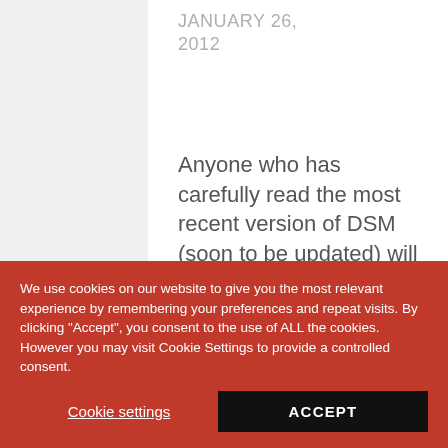JANUARY 26, 2012
Anyone who has carefully read the most recent version of DSM (soon to be updated) will realize,
We use cookies on our website to give you the most relevant experience by remembering your preferences and repeat visits. By clicking "Accept", you consent to the use of ALL the cookies. However you may visit Cookie Settings to provide a controlled consent.
Cookie settings
ACCEPT